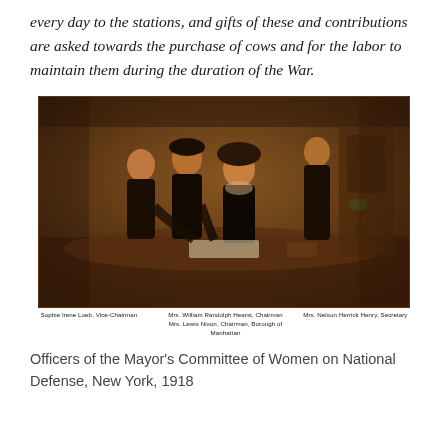every day to the stations, and gifts of these and contributions are asked towards the purchase of cows and for the labor to maintain them during the duration of the War.
[Figure (photo): Sepia-toned photograph of four women gathered around a table, apparently reviewing documents. Below the photograph are identifying captions: 'Sophie Irene Loeb, Vice-Chairman', 'Mrs. William Randolph Hearst, Chairman', 'Mrs. Lewis Nixon, Chairman, Borough of Manhattan', 'Mrs. Nelson Herrick Henry, Secretary'.]
Officers of the Mayor's Committee of Women on National Defense, New York, 1918